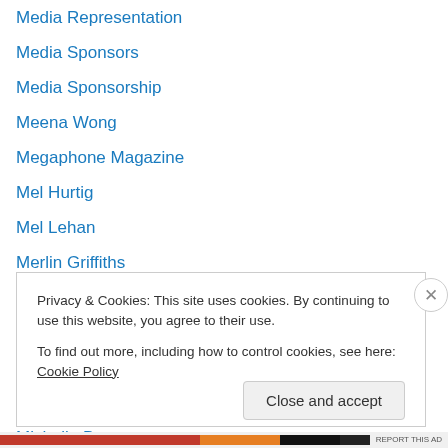Media Representation
Media Sponsors
Media Sponsorship
Meena Wong
Megaphone Magazine
Mel Hurtig
Mel Lehan
Merlin Griffiths
Metro Vancouver Alliance
Miami Mike
Michael Corkill
Michael Tippett
Michelle Demers
Privacy & Cookies: This site uses cookies. By continuing to use this website, you agree to their use. To find out more, including how to control cookies, see here: Cookie Policy
Close and accept